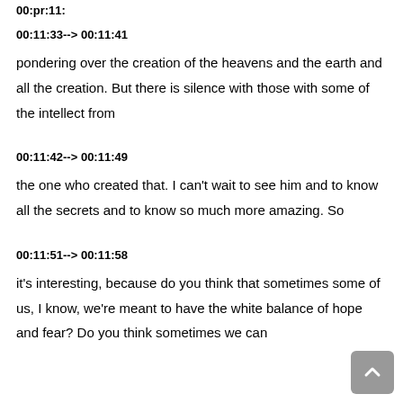00:pr:11:
00:11:33--> 00:11:41
pondering over the creation of the heavens and the earth and all the creation. But there is silence with those with some of the intellect from
00:11:42--> 00:11:49
the one who created that. I can't wait to see him and to know all the secrets and to know so much more amazing. So
00:11:51--> 00:11:58
it's interesting, because do you think that sometimes some of us, I know, we're meant to have the white balance of hope and fear? Do you think sometimes we can